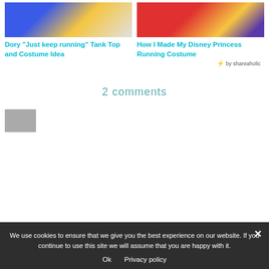[Figure (photo): Thumbnail image of Dory running costume - blue outfit with yellow background]
Dory "Just keep running" Tank Top and Costume Idea
[Figure (photo): Thumbnail image of Disney Princess running costume made with Cricut Explore Air 2 - red background with text]
How I Made My Disney Princess Running Costume
by shareaholic
2 comments
[Figure (photo): Small avatar/profile image thumbnail]
We use cookies to ensure that we give you the best experience on our website. If you continue to use this site we will assume that you are happy with it.
Ok   Privacy policy